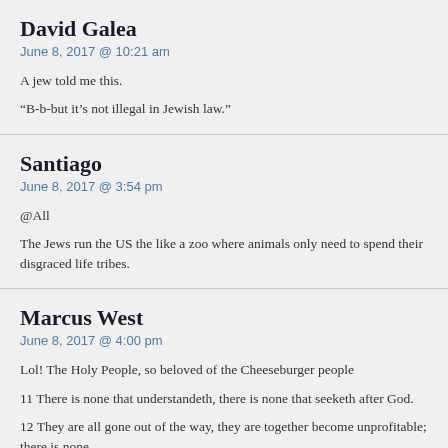David Galea
June 8, 2017 @ 10:21 am
A jew told me this.
“B-b-but it’s not illegal in Jewish law.”
Santiago
June 8, 2017 @ 3:54 pm
@All
The Jews run the US the like a zoo where animals only need to spend their disgraced life tribes.
Marcus West
June 8, 2017 @ 4:00 pm
Lol! The Holy People, so beloved of the Cheeseburger people
11 There is none that understandeth, there is none that seeketh after God.
12 They are all gone out of the way, they are together become unprofitable; there is none